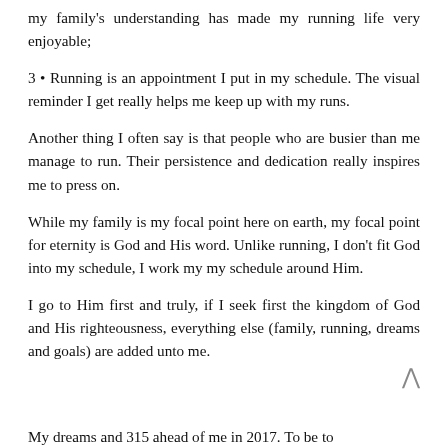my family's understanding has made my running life very enjoyable;
3 • Running is an appointment I put in my schedule. The visual reminder I get really helps me keep up with my runs.
Another thing I often say is that people who are busier than me manage to run. Their persistence and dedication really inspires me to press on.
While my family is my focal point here on earth, my focal point for eternity is God and His word. Unlike running, I don't fit God into my schedule, I work my my schedule around Him.
I go to Him first and truly, if I seek first the kingdom of God and His righteousness, everything else (family, running, dreams and goals) are added unto me.
My dreams and 315 ahead of me in 2017. To be to ...